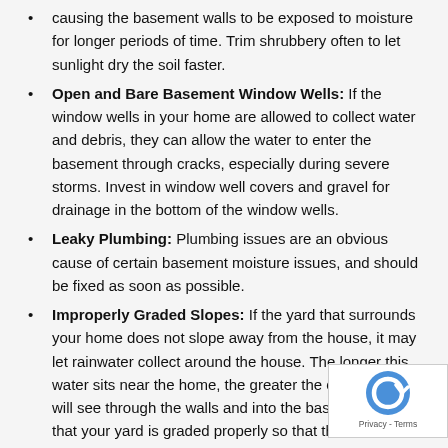(continuation) causing the basement walls to be exposed to moisture for longer periods of time. Trim shrubbery often to let sunlight dry the soil faster.
Open and Bare Basement Window Wells: If the window wells in your home are allowed to collect water and debris, they can allow the water to enter the basement through cracks, especially during severe storms. Invest in window well covers and gravel for drainage in the bottom of the window wells.
Leaky Plumbing: Plumbing issues are an obvious cause of certain basement moisture issues, and should be fixed as soon as possible.
Improperly Graded Slopes: If the yard that surrounds your home does not slope away from the house, it may let rainwater collect around the house. The longer this water sits near the home, the greater the chance th[at it] will see through the walls and into the basement. En[sure] that your yard is graded properly so that the land sl[opes]...